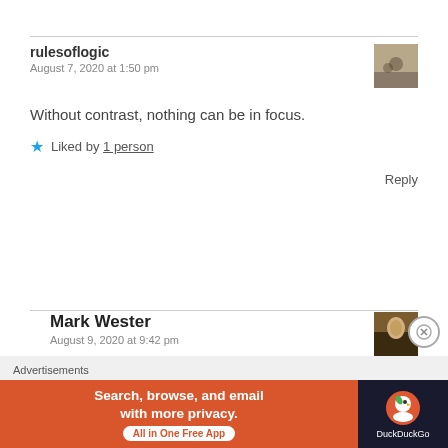rulesoflogic
August 7, 2020 at 1:50 pm
Without contrast, nothing can be in focus.
Liked by 1 person
Reply
Mark Wester
August 9, 2020 at 9:42 pm
[Figure (other): DuckDuckGo advertisement banner: Search, browse, and email with more privacy. All in One Free App.]